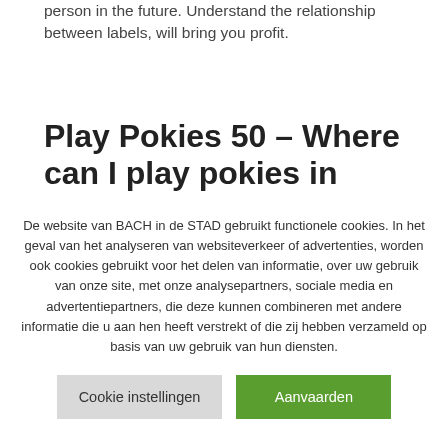person in the future. Understand the relationship between labels, will bring you profit.
Play Pokies 50 – Where can I play pokies in
De website van BACH in de STAD gebruikt functionele cookies. In het geval van het analyseren van websiteverkeer of advertenties, worden ook cookies gebruikt voor het delen van informatie, over uw gebruik van onze site, met onze analysepartners, sociale media en advertentiepartners, die deze kunnen combineren met andere informatie die u aan hen heeft verstrekt of die zij hebben verzameld op basis van uw gebruik van hun diensten.
Cookie instellingen
Aanvaarden